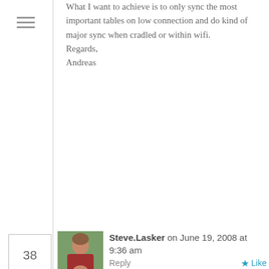[Figure (other): Hamburger menu icon (three horizontal lines)]
What I want to achieve is to only sync the most important tables on low connection and do kind of major sync when cradled or within wifi.
Regards,
Andreas
38
[Figure (photo): Profile photo of Steve.Lasker - man in red shirt outdoors]
Steve.Lasker on June 19, 2008 at 9:36 am    Reply  ★ Like
Hi Andres,
Sync Groups are a means to define different transaction boundaries, which also map to different payloads sent between the local and remote providers.  So, it's not really a SyncGroup that you'd use to differentiate synching at different times, but rather a SyncAgent session.
To achieve syncing different tables based on different times, you can configure